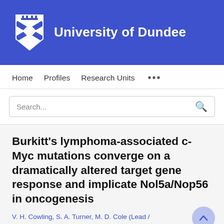[Figure (logo): University of Dundee logo with shield emblem and university name in white text on blue background]
Home   Profiles   Research Units   ...
Search...
Burkitt's lymphoma-associated c-Myc mutations converge on a dramatically altered target gene response and implicate Nol5a/Nop56 in oncogenesis
V. H. Cowling, S. A. Turner, M. D. Cole (Lead / Corresponding author)